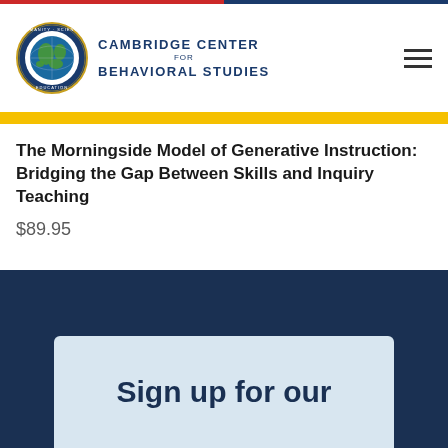[Figure (logo): Cambridge Center for Behavioral Studies logo with globe emblem and organization name]
The Morningside Model of Generative Instruction: Bridging the Gap Between Skills and Inquiry Teaching
$89.95
Sign up for our